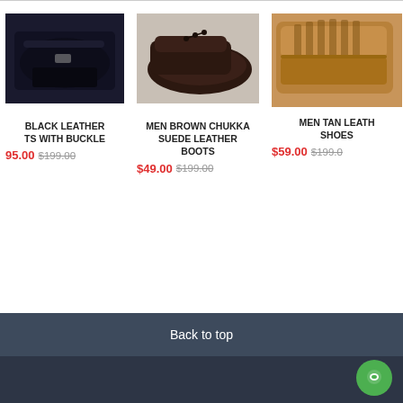[Figure (photo): Black leather boots with buckle]
[Figure (photo): Men brown chukka suede leather boots]
[Figure (photo): Men tan leather shoes]
BLACK LEATHER TS WITH BUCKLE
95.00 $199.00
MEN BROWN CHUKKA SUEDE LEATHER BOOTS
$49.00 $199.00
MEN TAN LEATH SHOES
$59.00 $199.00
Back to top